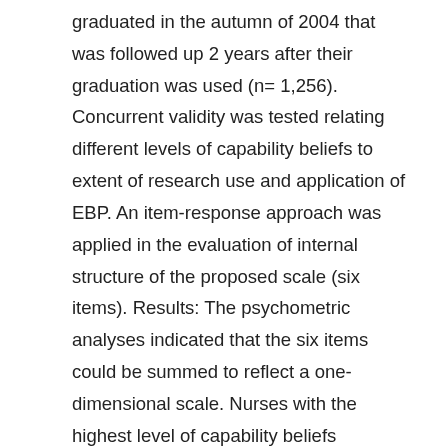graduated in the autumn of 2004 that was followed up 2 years after their graduation was used (n= 1,256). Concurrent validity was tested relating different levels of capability beliefs to extent of research use and application of EBP. An item-response approach was applied in the evaluation of internal structure of the proposed scale (six items). Results: The psychometric analyses indicated that the six items could be summed to reflect a one-dimensional scale. Nurses with the highest level of capability beliefs reported that they used research findings in clinical practice more than twice as often as those with lower levels of capability beliefs. They also participated in the implementation of evidence seven times more often. Implications: There is a need for further studies of the construct and predictive validity of the scale. It should also be validated in other groups of health professionals.